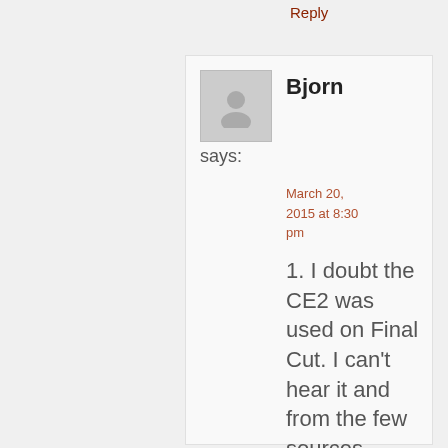Reply
Bjorn
says:
March 20, 2015 at 8:30 pm
1. I doubt the CE2 was used on Final Cut. I can't hear it and from the few sources